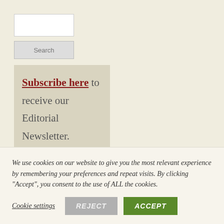[Figure (screenshot): Search input text box (white rectangle)]
[Figure (screenshot): Search button (light grey button with 'Search' label)]
Subscribe here to receive our Editorial Newsletter.
CONTRIBU
We use cookies on our website to give you the most relevant experience by remembering your preferences and repeat visits. By clicking “Accept”, you consent to the use of ALL the cookies.
Cookie settings REJECT ACCEPT